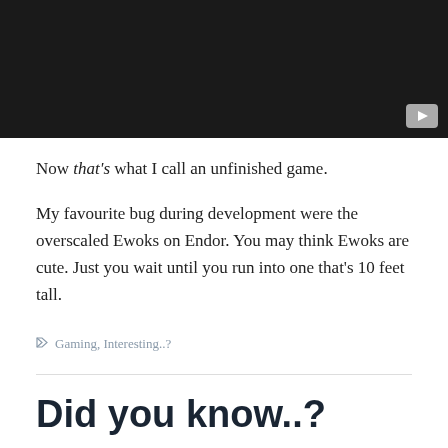[Figure (screenshot): Black video thumbnail with a gray play button in the bottom right corner]
Now that's what I call an unfinished game.
My favourite bug during development were the overscaled Ewoks on Endor. You may think Ewoks are cute. Just you wait until you run into one that's 10 feet tall.
Gaming, Interesting..?
Did you know..?
Koffdrop   July 4, 2012   5 Comments